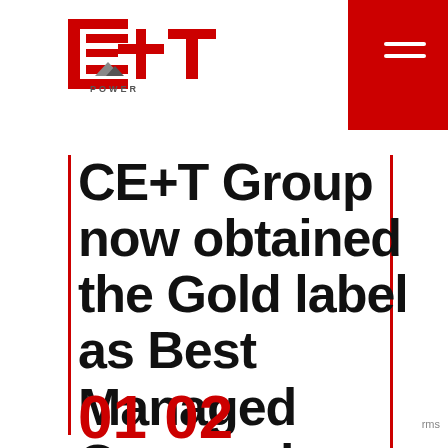[Figure (logo): CE+T Power logo in red with stylized letters and mountain/arrow graphic]
[Figure (other): Red square block in top-right corner with white hamburger menu icon (two horizontal lines)]
CE+T Group now obtained the Gold label as Best Managed Companies
Com
We use cookies to provide a better experience. By continuing to use the site you accept this policy. Learn more
I agree
rms